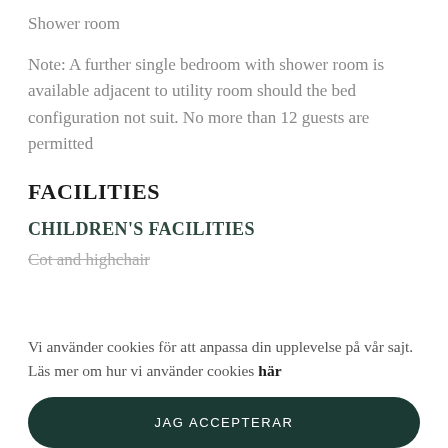Shower room
Note: A further single bedroom with shower room is available adjacent to utility room should the bed configuration not suit. No more than 12 guests are permitted
FACILITIES
CHILDREN'S FACILITIES
Cot and highchair
Vi använder cookies för att anpassa din upplevelse på vår sajt. Läs mer om hur vi använder cookies här
JAG ACCEPTERAR